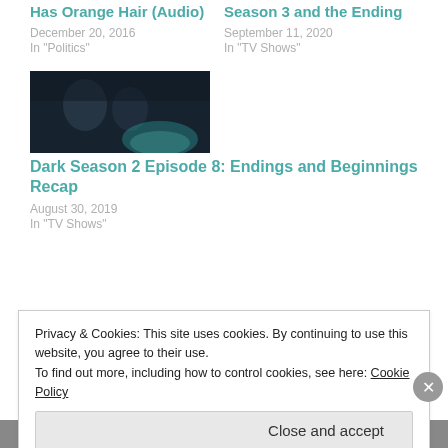Has Orange Hair (Audio)
December 20, 2016
In "Politics"
Season 3 and the Ending
September 11, 2020
In "TV Shows"
[Figure (photo): Dark moody scene with two figures in dim blue-green light]
Dark Season 2 Episode 8: Endings and Beginnings Recap
August 30, 2019
In "TV Shows"
Privacy & Cookies: This site uses cookies. By continuing to use this website, you agree to their use.
To find out more, including how to control cookies, see here: Cookie Policy
Close and accept